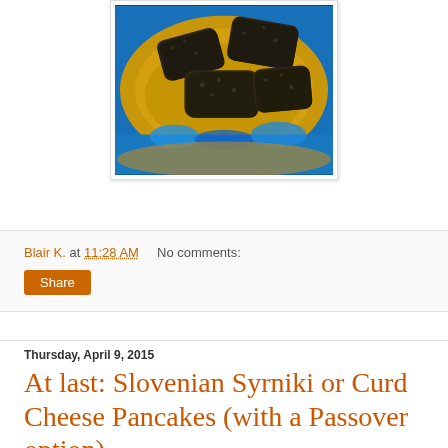[Figure (photo): Overhead view of dark buckwheat pancake rolls cooking in a golden butter-filled pan on a blue gas flame stove]
Blair K. at 11:28 AM    No comments:
Share
Thursday, April 9, 2015
At last: Slovenian Syrniki or Curd Cheese Pancakes (with a Passover option)